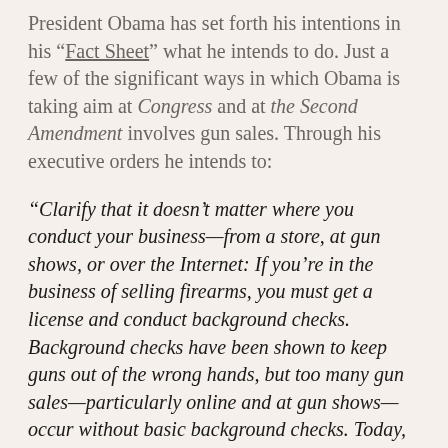President Obama has set forth his intentions in his “Fact Sheet” what he intends to do. Just a few of the significant ways in which Obama is taking aim at Congress and at the Second Amendment involves gun sales. Through his executive orders he intends to:
“Clarify that it doesn’t matter where you conduct your business—from a store, at gun shows, or over the Internet: If you’re in the business of selling firearms, you must get a license and conduct background checks. Background checks have been shown to keep guns out of the wrong hands, but too many gun sales—particularly online and at gun shows—occur without basic background checks. Today, the Administration took action to ensure